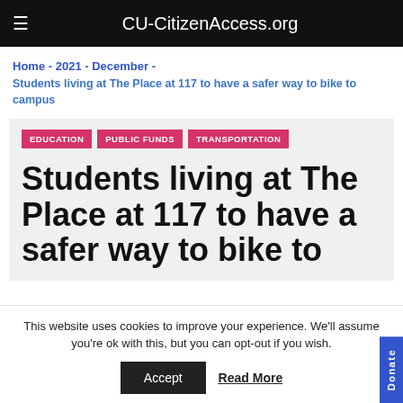CU-CitizenAccess.org
Home - 2021 - December - Students living at The Place at 117 to have a safer way to bike to campus
EDUCATION
PUBLIC FUNDS
TRANSPORTATION
Students living at The Place at 117 to have a safer way to bike to
This website uses cookies to improve your experience. We'll assume you're ok with this, but you can opt-out if you wish.